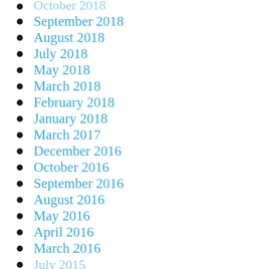October 2018 (partial, cut off at top)
September 2018
August 2018
July 2018
May 2018
March 2018
February 2018
January 2018
March 2017
December 2016
October 2016
September 2016
August 2016
May 2016
April 2016
March 2016
July 2015 (partial, cut off at bottom)